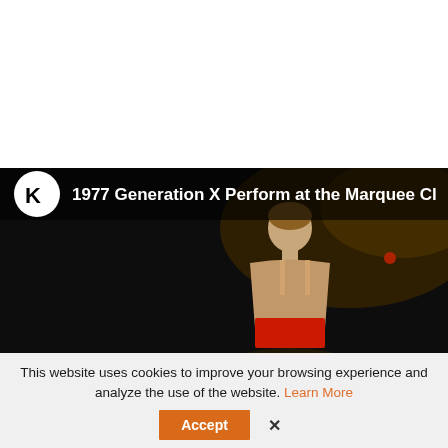[Figure (screenshot): Video thumbnail showing a performer on stage with dark background, with a K-logo overlay and title '1977 Generation X Perform at the Marquee Cl...' in the top bar]
This website uses cookies to improve your browsing experience and analyze the use of the website. Learn More